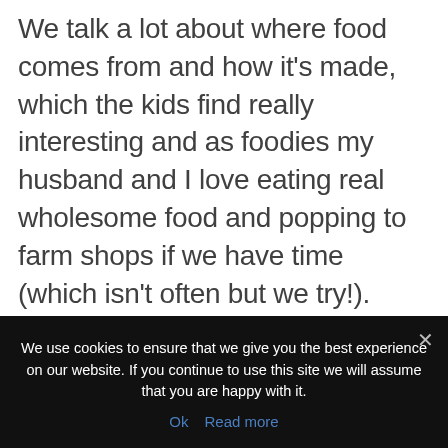We talk a lot about where food comes from and how it's made, which the kids find really interesting and as foodies my husband and I love eating real wholesome food and popping to farm shops if we have time (which isn't often but we try!). They know how fruit and vegetables are grown and that we'll choose meat that's come from a good farm where animals live happy lives. They'll eat
We use cookies to ensure that we give you the best experience on our website. If you continue to use this site we will assume that you are happy with it.